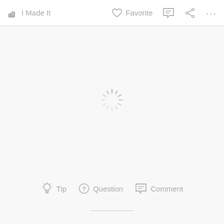I Made It   Favorite   [comment] [share] [more]
[Figure (other): Loading spinner (animated radial spokes) centered on white content area]
Tip   Question   Comment
———